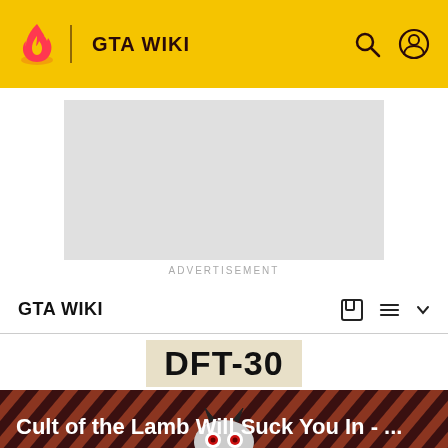GTA WIKI
[Figure (other): Advertisement placeholder — grey rectangle with ADVERTISEMENT label below]
GTA WIKI
DFT-30
[Figure (photo): Cult of the Lamb game promotional image with diagonal striped background and character with red eyes visible at bottom]